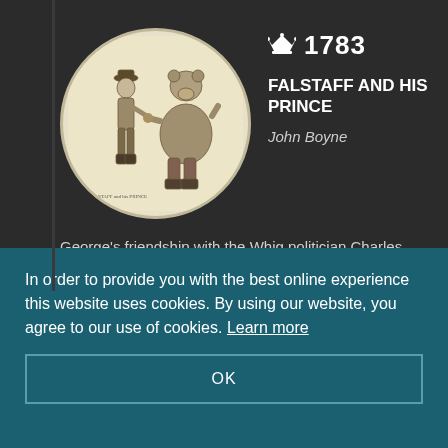[Figure (illustration): Circular cropped engraving showing two figures shaking hands — a slender figure in a hat and boots on the left, and a large rotund bear-like figure on the right, with text at the bottom reading 'Falstaff and his Prince'. Sepia/cream toned.]
1783
FALSTAFF AND HIS PRINCE
John Boyne
George's friendship with the Whig politician Charles James Fox becomes a subject for
In order to provide you with the best online experience this website uses cookies. By using our website, you agree to our use of cookies. Learn more
OK